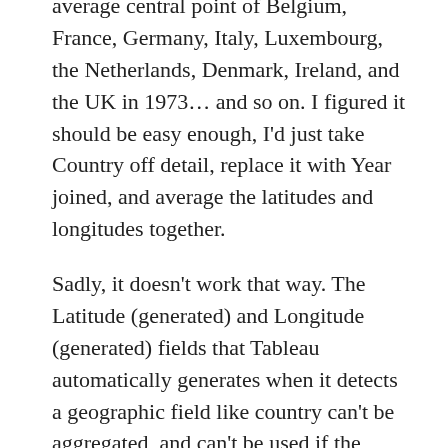average central point of Belgium, France, Germany, Italy, Luxembourg, the Netherlands, Denmark, Ireland, and the UK in 1973… and so on. I figured it should be easy enough, I'd just take Country off detail, replace it with Year joined, and average the latitudes and longitudes together.
Sadly, it doesn't work that way. The Latitude (generated) and Longitude (generated) fields that Tableau automatically generates when it detects a geographic field like country can't be aggregated, and can't be used if the geographic field